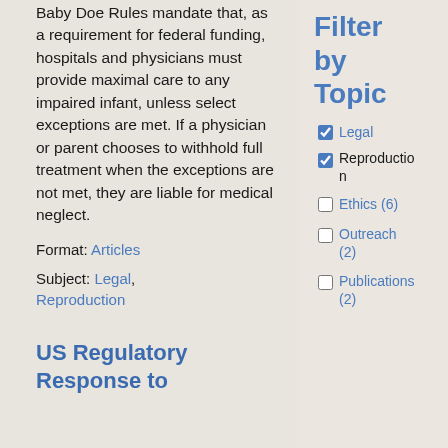Baby Doe Rules mandate that, as a requirement for federal funding, hospitals and physicians must provide maximal care to any impaired infant, unless select exceptions are met. If a physician or parent chooses to withhold full treatment when the exceptions are not met, they are liable for medical neglect.
Format: Articles
Subject: Legal, Reproduction
US Regulatory Response to
Filter by Topic
Legal (checked)
Reproduction (checked)
Ethics (6) (unchecked)
Outreach (2) (unchecked)
Publications (2) (unchecked)